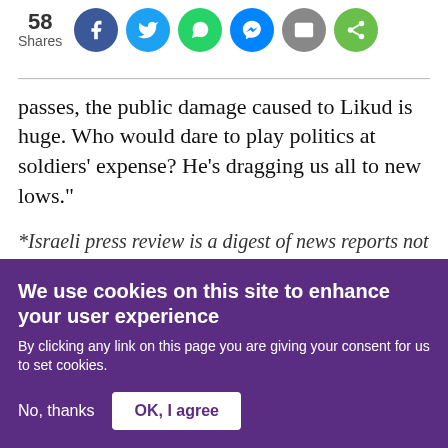[Figure (infographic): Social share bar showing 58 shares with circular icon buttons for Facebook (blue), Twitter (light blue), WhatsApp (green), Messenger (blue), Email (grey), and Share (green)]
passes, the public damage caused to Likud is huge. Who would dare to play politics at soldiers' expense? He's dragging us all to new lows."
*Israeli press review is a digest of news reports not independently verified as accurate by Middle East Eye
We use cookies on this site to enhance your user experience
By clicking any link on this page you are giving your consent for us to set cookies.
No, thanks
OK, I agree